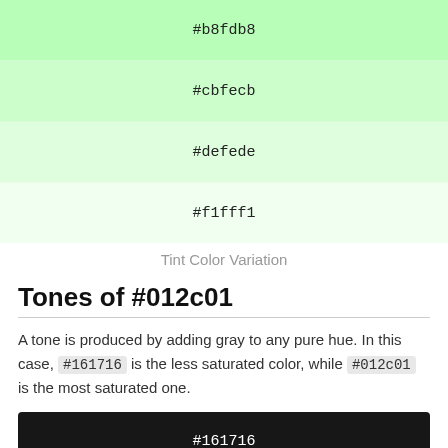[Figure (other): Color swatch for #b8fdb8, a light green tint]
[Figure (other): Color swatch for #cbfecb, a lighter green tint]
[Figure (other): Color swatch for #defede, an even lighter green tint]
[Figure (other): Color swatch for #f1fff1, the lightest green tint]
Tint Color Variation
Tones of #012c01
A tone is produced by adding gray to any pure hue. In this case, #161716 is the less saturated color, while #012c01 is the most saturated one.
[Figure (other): Color swatch for #161716, a very dark near-black tone]